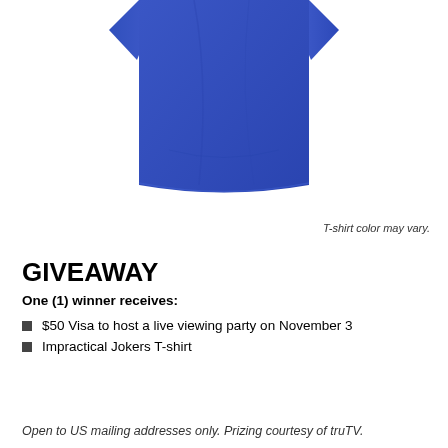[Figure (photo): Blue t-shirt partially shown, lower portion visible against white background]
T-shirt color may vary.
GIVEAWAY
One (1) winner receives:
$50 Visa to host a live viewing party on November 3
Impractical Jokers T-shirt
Open to US mailing addresses only. Prizing courtesy of truTV.